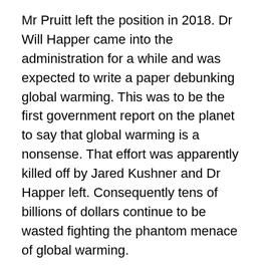Mr Pruitt left the position in 2018. Dr Will Happer came into the administration for a while and was expected to write a paper debunking global warming. This was to be the first government report on the planet to say that global warming is a nonsense. That effort was apparently killed off by Jared Kushner and Dr Happer left. Consequently tens of billions of dollars continue to be wasted fighting the phantom menace of global warming.
In fact the global warming misinformation campaign keeps ratcheting up. In 2017 the globalists of the World Economic Forum, based in Geneva but best known for their annual meeting in Davos, created an offshoot called the Hydrogen Council. This is based in Belgium, which is also the birthplace of Dr Evil.  The promoters of hydrogen must know it is a non-starter. Their market research on...